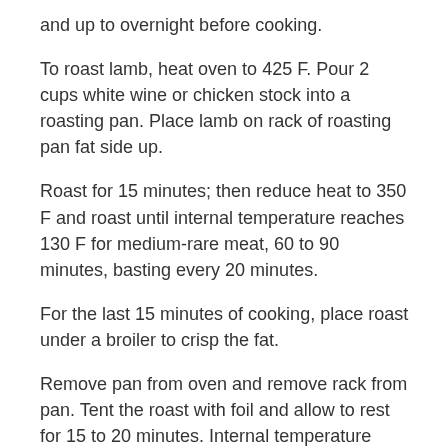and up to overnight before cooking.
To roast lamb, heat oven to 425 F. Pour 2 cups white wine or chicken stock into a roasting pan. Place lamb on rack of roasting pan fat side up.
Roast for 15 minutes; then reduce heat to 350 F and roast until internal temperature reaches 130 F for medium-rare meat, 60 to 90 minutes, basting every 20 minutes.
For the last 15 minutes of cooking, place roast under a broiler to crisp the fat.
Remove pan from oven and remove rack from pan. Tent the roast with foil and allow to rest for 15 to 20 minutes. Internal temperature should rise to 140 F. Cut into 1/2-inch thick slices and serve.